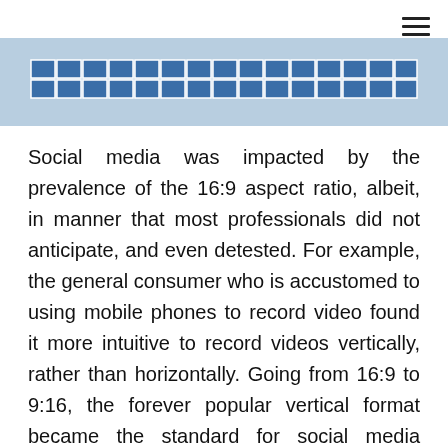≡
[Figure (other): Partial view of a horizontal grid/table graphic with blue cells on a light blue background, appearing to be the bottom portion of a visual element cut off at the top of the page.]
Social media was impacted by the prevalence of the 16:9 aspect ratio, albeit, in manner that most professionals did not anticipate, and even detested. For example, the general consumer who is accustomed to using mobile phones to record video found it more intuitive to record videos vertically, rather than horizontally. Going from 16:9 to 9:16, the forever popular vertical format became the standard for social media platforms like Snapchat, Instagram, and, more recently, TikTok, to name a few.